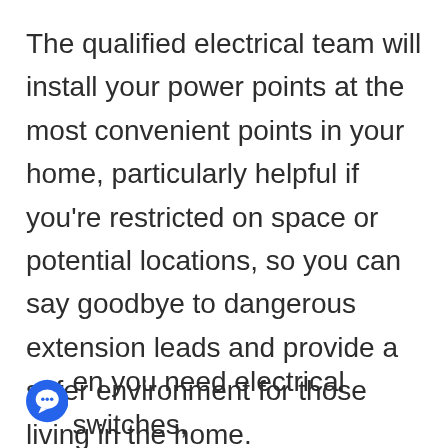The qualified electrical team will install your power points at the most convenient points in your home, particularly helpful if you're restricted on space or potential locations, so you can say goodbye to dangerous extension leads and provide a safer environment for those living in the home.
en you need electrical switches, power points and other services for your